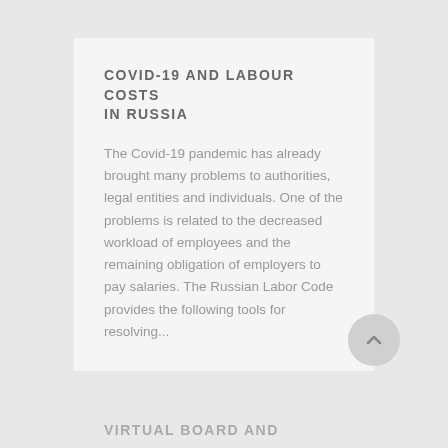COVID-19 AND LABOUR COSTS IN RUSSIA
The Covid-19 pandemic has already brought many problems to authorities, legal entities and individuals. One of the problems is related to the decreased workload of employees and the remaining obligation of employers to pay salaries. The Russian Labor Code provides the following tools for resolving...
VIRTUAL BOARD AND